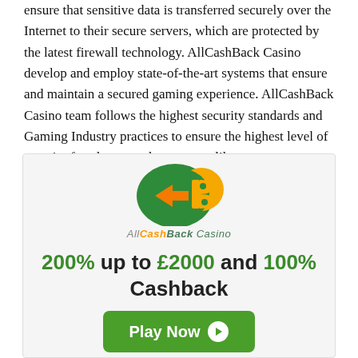ensure that sensitive data is transferred securely over the Internet to their secure servers, which are protected by the latest firewall technology. AllCashBack Casino develop and employ state-of-the-art systems that ensure and maintain a secured gaming experience. AllCashBack Casino team follows the highest security standards and Gaming Industry practices to ensure the highest level of security for players and operators alike.
[Figure (logo): AllCashBack Casino logo with green/orange CB emblem and stylized text 'AllCashBack Casino']
200% up to £2000 and 100% Cashback
[Figure (infographic): Green 'Play Now' button with right-arrow circle icon]